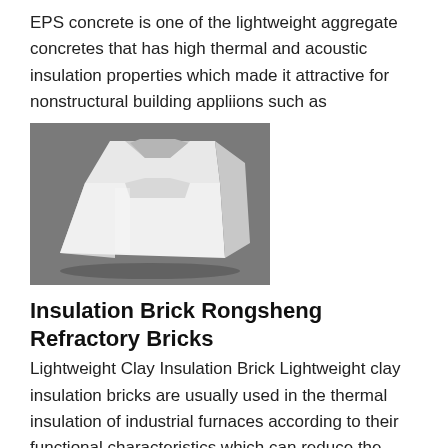EPS concrete is one of the lightweight aggregate concretes that has high thermal and acoustic insulation properties which made it attractive for nonstructural building appliions such as
[Figure (photo): A white EPS (expanded polystyrene) foam block shaped like a concave form piece, photographed on a gray surface.]
Insulation Brick Rongsheng Refractory Bricks
Lightweight Clay Insulation Brick Lightweight clay insulation bricks are usually used in the thermal insulation of industrial furnaces according to their functional characteristics which can reduce the heat loss of the furnace and save power
[Figure (photo): A partial photograph of a brick/refractory product, cropped at the bottom of the page, showing a circular or curved form on a dark background.]